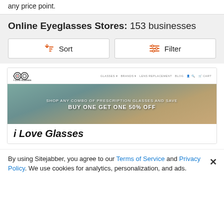any price point.
Online Eyeglasses Stores: 153 businesses
[Figure (screenshot): Sort and Filter buttons UI]
[Figure (screenshot): i Love Glasses store card with banner showing SHOP ANY COMBO OF PRESCRIPTION GLASSES AND SAVE / BUY ONE GET ONE 50% OFF]
By using Sitejabber, you agree to our Terms of Service and Privacy Policy. We use cookies for analytics, personalization, and ads.